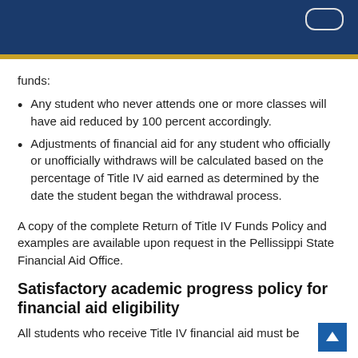funds:
Any student who never attends one or more classes will have aid reduced by 100 percent accordingly.
Adjustments of financial aid for any student who officially or unofficially withdraws will be calculated based on the percentage of Title IV aid earned as determined by the date the student began the withdrawal process.
A copy of the complete Return of Title IV Funds Policy and examples are available upon request in the Pellissippi State Financial Aid Office.
Satisfactory academic progress policy for financial aid eligibility
All students who receive Title IV financial aid must be